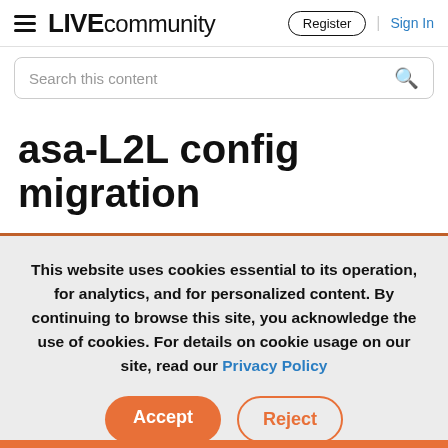LIVE community | Register | Sign In
Search this content
asa-L2L config migration
This website uses cookies essential to its operation, for analytics, and for personalized content. By continuing to browse this site, you acknowledge the use of cookies. For details on cookie usage on our site, read our Privacy Policy
Accept | Reject